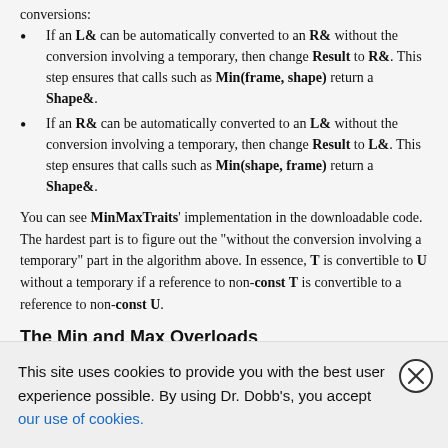conversions:
If an L& can be automatically converted to an R& without the conversion involving a temporary, then change Result to R&. This step ensures that calls such as Min(frame, shape) return a Shape&.
If an R& can be automatically converted to an L& without the conversion involving a temporary, then change Result to L&. This step ensures that calls such as Min(shape, frame) return a Shape&.
You can see MinMaxTraits' implementation in the downloadable code. The hardest part is to figure out the "without the conversion involving a temporary" part in the algorithm above. In essence, T is convertible to U without a temporary if a reference to non-const T is convertible to a reference to non-const U.
The Min and Max Overloads
There are four Min and four Max overloads, corresponding to the four combinations of const and
This site uses cookies to provide you with the best user experience possible. By using Dr. Dobb's, you accept our use of cookies.